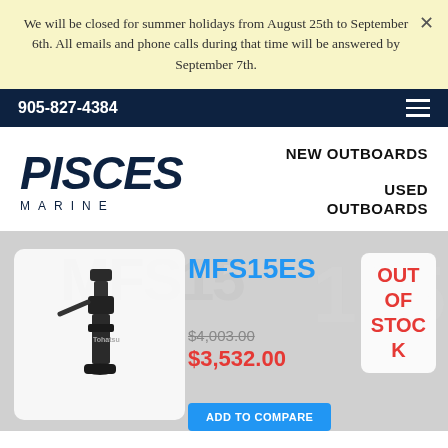We will be closed for summer holidays from August 25th to September 6th. All emails and phone calls during that time will be answered by September 7th.
905-827-4384
[Figure (logo): Pisces Marine logo with italic bold dark navy text 'PISCES' and smaller spaced 'MARINE' below]
NEW OUTBOARDS
USED OUTBOARDS
[Figure (photo): Product card showing Tohatsu outboard motor MFS15ES, with original price $4,003.00 struck through and sale price $3,532.00 in red. An 'OUT OF STOCK' badge in red appears to the right.]